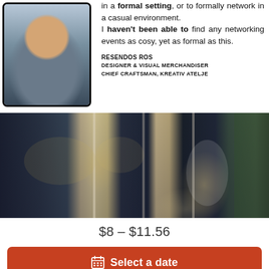[Figure (photo): Headshot photo of a man in a dark jacket with a lanyard, smiling, in a tablet frame]
in a formal setting, or to formally network in a casual environment. I haven't been able to find any networking events as cosy, yet as formal as this.
RESENDOS ROS
DESIGNER & VISUAL MERCHANDISER
CHIEF CRAFTSMAN, KREATIV ATELJE
[Figure (photo): Event venue photo showing people networking in a restaurant/bar with city lights visible through large windows]
$8 – $11.56
Select a date